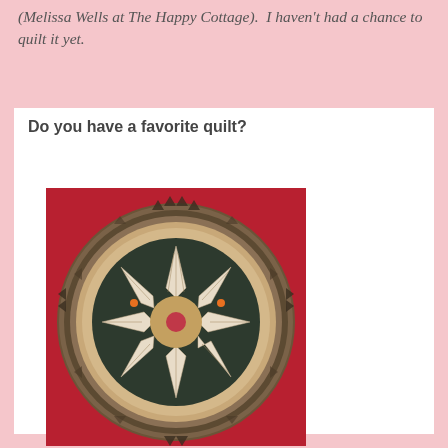(Melissa Wells at The Happy Cottage).  I haven't had a chance to quilt it yet.
Do you have a favorite quilt?
[Figure (photo): A circular quilt displayed against a red/crimson background. The quilt features a large medallion design with a central eight-pointed star in cream/white with dark marbling, surrounded by concentric circular bands of patterned fabric in earthy tones of brown, green, and beige, with decorative triangle borders.]